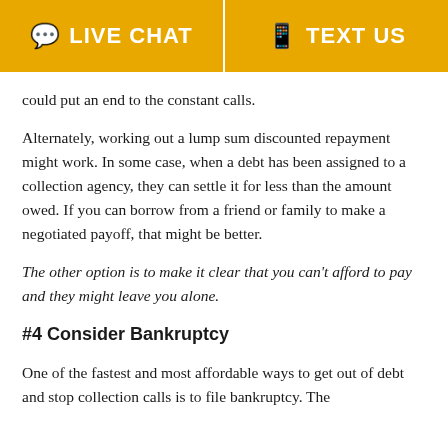LIVE CHAT | TEXT US
could put an end to the constant calls.
Alternately, working out a lump sum discounted repayment might work. In some case, when a debt has been assigned to a collection agency, they can settle it for less than the amount owed. If you can borrow from a friend or family to make a negotiated payoff, that might be better.
The other option is to make it clear that you can't afford to pay and they might leave you alone.
#4 Consider Bankruptcy
One of the fastest and most affordable ways to get out of debt and stop collection calls is to file bankruptcy. The new...